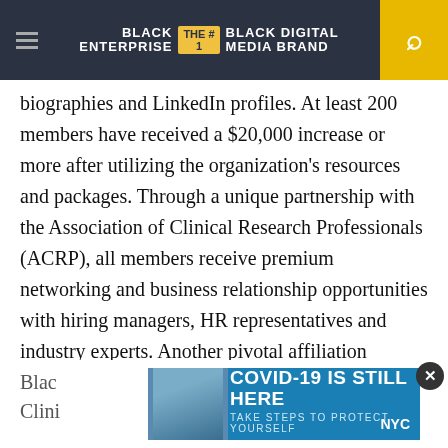BLACK ENTERPRISE — THE #1 BLACK DIGITAL MEDIA BRAND
biographies and LinkedIn profiles. At least 200 members have received a $20,000 increase or more after utilizing the organization's resources and packages. Through a unique partnership with the Association of Clinical Research Professionals (ACRP), all members receive premium networking and business relationship opportunities with hiring managers, HR representatives and industry experts. Another pivotal affiliation between the founder and the White House has ensured Historically Black Colleges and Universities (HBCU) students get key information for their next steps in clinical research.
Blac... in Clini...
[Figure (advertisement): COVID-19 IS STILL HERE — TAKE STEPS TO PROTECT YOURSELF. NYC public health ad with masked person photo.]